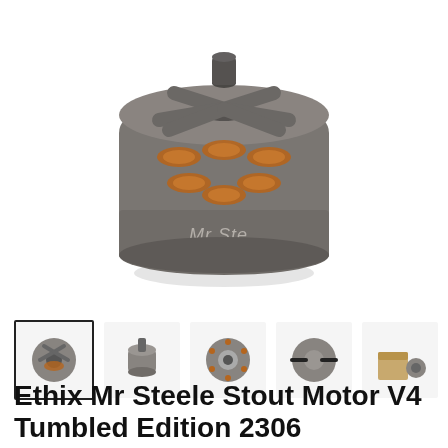[Figure (photo): Main product image of Ethix Mr Steele Stout Motor V4 Tumbled Edition 2306 — a brushless DC motor shown from the top/front angle, dark gray metallic finish with copper coil windings visible and 'Mr Ste' text on the side]
[Figure (photo): Thumbnail row of 5 product images showing the motor from various angles: top view (selected), side view, bottom view, side with wire, and packaging]
Ethix Mr Steele Stout Motor V4 Tumbled Edition 2306